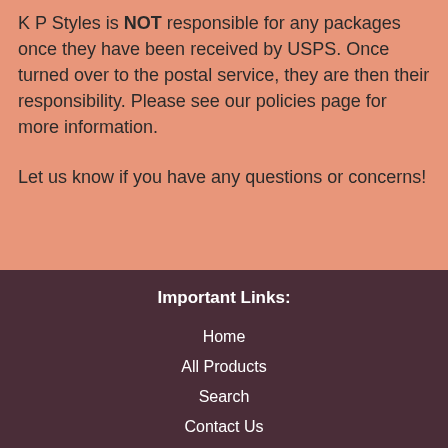K P Styles is NOT responsible for any packages once they have been received by USPS. Once turned over to the postal service, they are then their responsibility. Please see our policies page for more information.
Let us know if you have any questions or concerns!
Important Links:
Home
All Products
Search
Contact Us